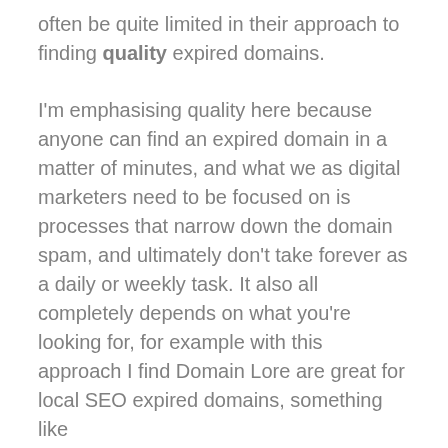often be quite limited in their approach to finding quality expired domains.
I'm emphasising quality here because anyone can find an expired domain in a matter of minutes, and what we as digital marketers need to be focused on is processes that narrow down the domain spam, and ultimately don't take forever as a daily or weekly task. It also all completely depends on what you're looking for, for example with this approach I find Domain Lore are great for local SEO expired domains, something like https://northweststoragesolutions.co.uk/ is a good example (saving you the time to actually get links in to your target site).
This process I'm going to show you only takes a